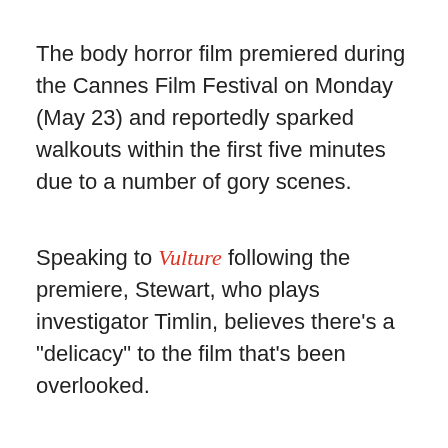The body horror film premiered during the Cannes Film Festival on Monday (May 23) and reportedly sparked walkouts within the first five minutes due to a number of gory scenes.
Speaking to Vulture following the premiere, Stewart, who plays investigator Timlin, believes there’s a “delicacy” to the film that’s been overlooked.
Advertisement
[Figure (photo): Advertisement banner for Heritage Guitar Inc. showing a dark image of an electric guitar in a blue velvet case with the Heritage Guitar Inc. logo in white italic script on the right side, and a close button (X) in the top right corner.]